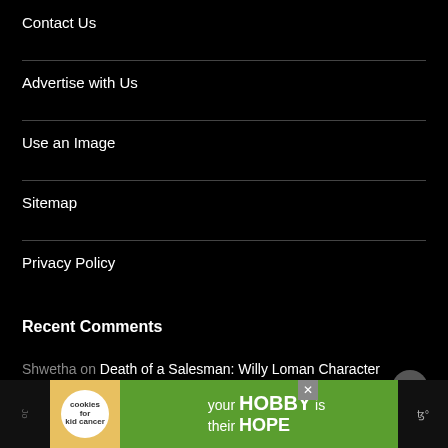Contact Us
Advertise with Us
Use an Image
Sitemap
Privacy Policy
Recent Comments
Shwetha on Death of a Salesman: Willy Loman Character Analysis
Martha on Solubility of KNO3 Lab: Table & Graph
Chad S. on Animal Farm and Communism: Analysis
[Figure (screenshot): Advertisement banner: cookies for kid cancer, 'your HOBBY is their HOPE']